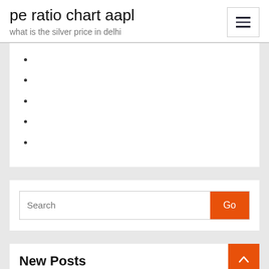pe ratio chart aapl
what is the silver price in delhi
Search Go
New Posts